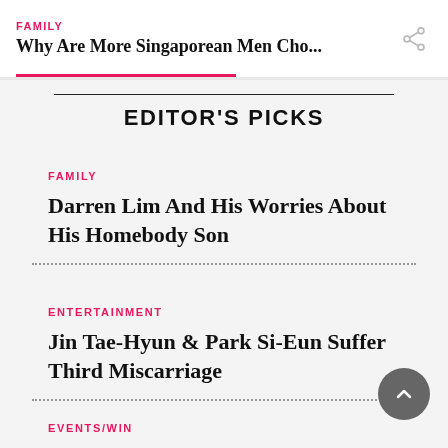FAMILY
Why Are More Singaporean Men Cho...
EDITOR'S PICKS
FAMILY
Darren Lim And His Worries About His Homebody Son
ENTERTAINMENT
Jin Tae-Hyun & Park Si-Eun Suffer Third Miscarriage
EVENTS/WIN
Vote For Your Fave Household Brands & Win $200 Takashimaya